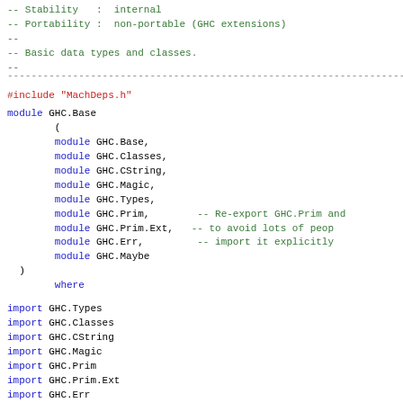-- Stability : internal
-- Portability : non-portable (GHC extensions)
--
-- Basic data types and classes.
--
--------------------------------------------------------------------------------
#include "MachDeps.h"
module GHC.Base
        (
        module GHC.Base,
        module GHC.Classes,
        module GHC.CString,
        module GHC.Magic,
        module GHC.Types,
        module GHC.Prim,        -- Re-export GHC.Prim and
        module GHC.Prim.Ext,   -- to avoid lots of peop
        module GHC.Err,        -- import it explicitly
        module GHC.Maybe
  )
        where
import GHC.Types
import GHC.Classes
import GHC.CString
import GHC.Magic
import GHC.Prim
import GHC.Prim.Ext
import GHC.Err